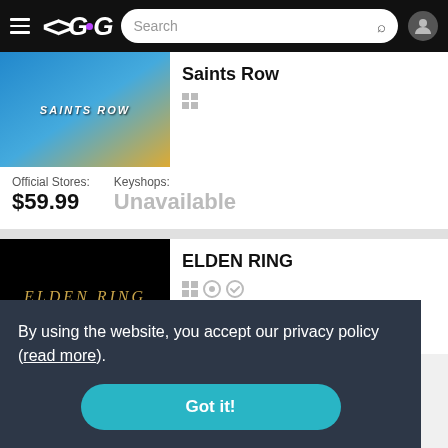[Figure (screenshot): Navigation bar with hamburger menu, GG logo, search bar and user icon on black background]
[Figure (illustration): Saints Row game cover art showing characters in action]
Saints Row
Official Stores: $59.99    Keyshops: Unavailable
ELDEN RING
By using the website, you accept our privacy policy (read more).
Got it!